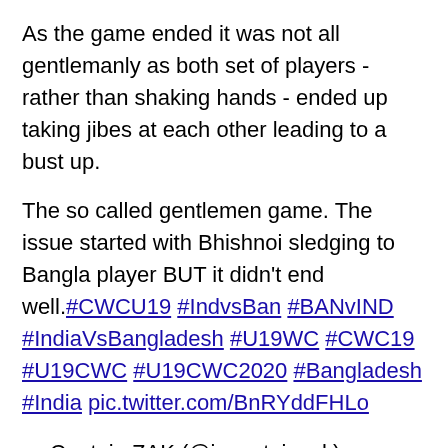As the game ended it was not all gentlemanly as both set of players - rather than shaking hands - ended up taking jibes at each other leading to a bust up.
The so called gentlemen game. The issue started with Bhishnoi sledging to Bangla player BUT it didn't end well. #CWCU19 #IndvsBan #BANvIND #IndiaVsBangladesh #U19WC #CWC19 #U19CWC #U19CWC2020 #Bangladesh #India pic.twitter.com/BnRYddFHLo
— Captain ZAK (@i_captainzak) February 9, 2020
Bangladesh U-19 skipper, Akbar Ali said it was "a dream come true" and that he was elated. But even he agreed that the aggression from his set of